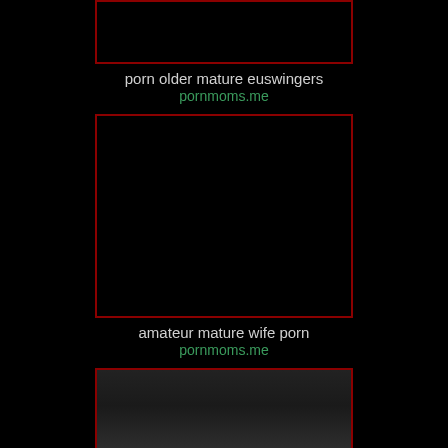[Figure (photo): Dark/black image with dark red border - first thumbnail]
porn older mature euswingers
pornmoms.me
[Figure (photo): Dark/black image with dark red border - second thumbnail]
amateur mature wife porn
pornmoms.me
[Figure (photo): Partially visible photo at bottom of page]